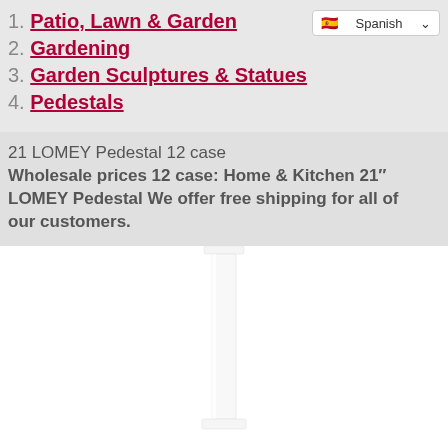1. Patio, Lawn & Garden
2. Gardening
3. Garden Sculptures & Statues
4. Pedestals
21 LOMEY Pedestal 12 case
Wholesale prices 12 case: Home & Kitchen 21″ LOMEY Pedestal We offer free shipping for all of our customers.
[Figure (photo): White pedestal column product photo on white background]